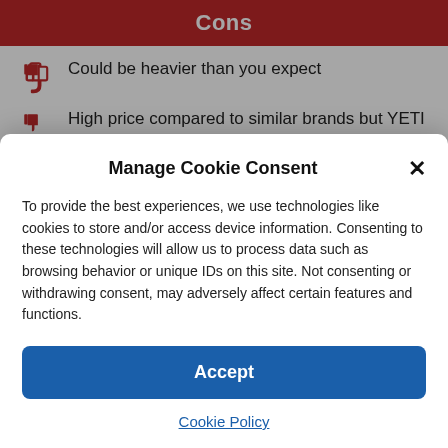Cons
Could be heavier than you expect
High price compared to similar brands but YETI does it best.
Manage Cookie Consent
To provide the best experiences, we use technologies like cookies to store and/or access device information. Consenting to these technologies will allow us to process data such as browsing behavior or unique IDs on this site. Not consenting or withdrawing consent, may adversely affect certain features and functions.
Accept
Cookie Policy